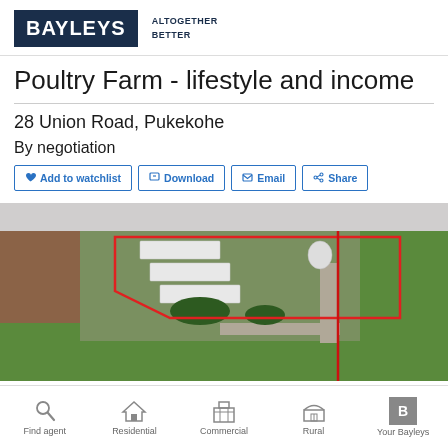[Figure (logo): Bayleys logo with 'ALTOGETHER BETTER' tagline]
Poultry Farm - lifestyle and income
28 Union Road, Pukekohe
By negotiation
Add to watchlist  Download  Email  Share
[Figure (photo): Aerial photograph of poultry farm at 28 Union Road, Pukekohe, showing farm buildings, poultry sheds outlined in red boundary lines, driveway, and surrounding green fields and brown ploughed land]
Find agent  Residential  Commercial  Rural  Your Bayleys